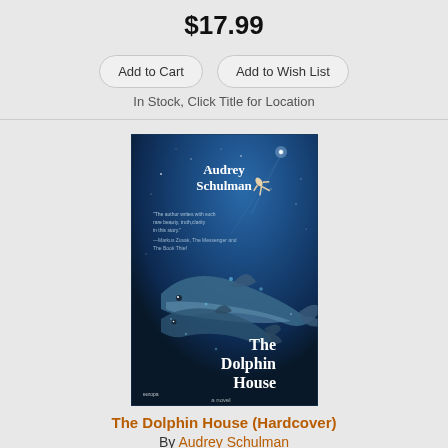$17.99
Add to Cart
Add to Wish List
In Stock, Click Title for Location
[Figure (photo): Book cover of The Dolphin House by Audrey Schulman — underwater scene with dolphins and a person swimming in deep blue water, published by Europa Editions]
The Dolphin House (Hardcover)
By Audrey Schulman
$27.00
Add to Cart
Add to Wish List
In Stock, Click Title for Location
[Figure (photo): Partial book cover visible at bottom — A Light Beyond The by Alan Head, purple/violet tones with starry background]